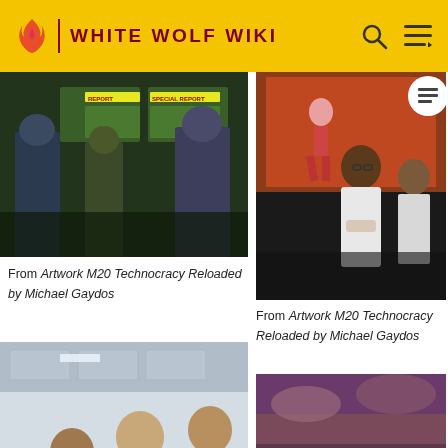WHITE WOLF WIKI
[Figure (illustration): Comic-style illustration of figures standing in front of news bulletin boards with 'SPECIAL REPORT' signs]
From Artwork M20 Technocracy Reloaded by Michael Gaydos
[Figure (illustration): Comic-style illustration of scientists/researchers, one in a white lab coat, with a screen showing a running figure in the background]
From Artwork M20 Technocracy Reloaded by Michael Gaydos
[Figure (illustration): 3D rendered illustration of two men in suits and a woman in an office setting, one man appears to be presenting or demonstrating something]
[Figure (illustration): Digital illustration of two figures holding futuristic weapons against a purple/pink dusk sky]